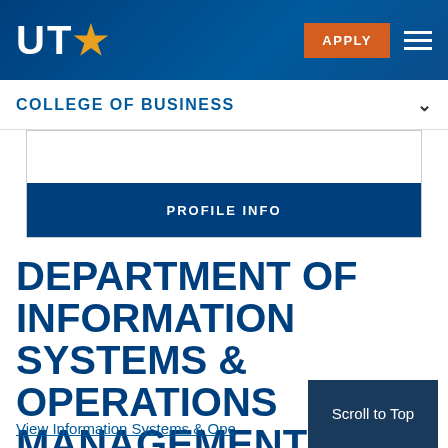UTA — College of Business — APPLY
COLLEGE OF BUSINESS
PROFILE INFO
DEPARTMENT OF INFORMATION SYSTEMS & OPERATIONS MANAGEMENT
View Information Systems & Operations Management Department
Scroll to Top